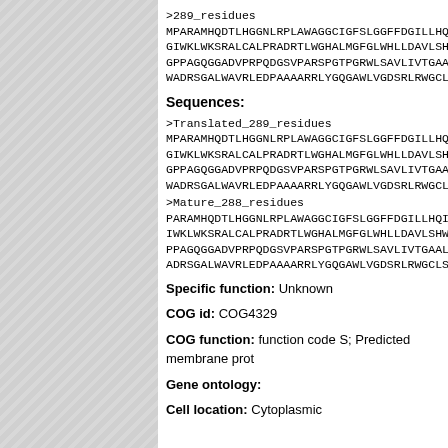>289_residues
MPARAMHQDTLHGGNLRPLAWAGGCIGFSLGGFFDGILLHQILQWH...
GIWKLWKSRALCALPRADRTLWGHALMGFGLWHLLDAVLSHWVLGL...
GPPAGQGGADVPRPQDGSVPARSPGTPGRWLSAVLIVTGAALASVW...
WADRSGALWAVRLEDPAAARRLYGQGAWLVGDSRLRWGCLSWMGAG...
Sequences:
>Translated_289_residues
MPARAMHQDTLHGGNLRPLAWAGGCIGFSLGGFFDGILLHQILQWH...
GIWKLWKSRALCALPRADRTLWGHALMGFGLWHLLDAVLSHWVLGL...
GPPAGQGGADVPRPQDGSVPARSPGTPGRWLSAVLIVTGAALASVW...
WADRSGALWAVRLEDPAAARRLYGQGAWLVGDSRLRWGCLSWMGAG...
>Mature_288_residues
PARAMHQDTLHGGNLRPLAWAGGCIGFSLGGFFDGILLHQILQWHH...
IWKLWKSRALCALPRADRTLWGHALMGFGLWHLLDAVLSHWVLGLH...
PPAGQGGADVPRPQDGSVPARSPGTPGRWLSAVLIVTGAALASVWP...
ADRSGALWAVRLEDPAAARRLYGQGAWLVGDSRLRWGCLSWMGAGP...
Specific function: Unknown
COG id: COG4329
COG function: function code S; Predicted membrane prot...
Gene ontology:
Cell location: Cytoplasmic